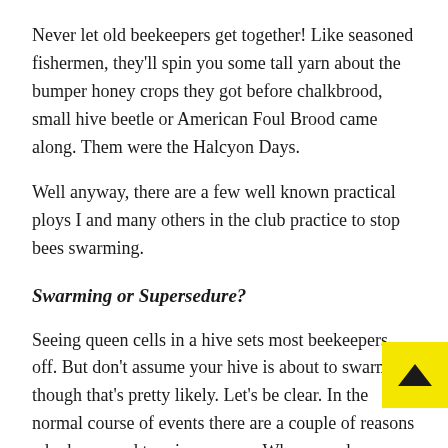Never let old beekeepers get together! Like seasoned fishermen, they'll spin you some tall yarn about the bumper honey crops they got before chalkbrood, small hive beetle or American Foul Brood came along. Them were the Halcyon Days.
Well anyway, there are a few well known practical ploys I and many others in the club practice to stop bees swarming.
Swarming or Supersedure?
Seeing queen cells in a hive sets most beekeepers off. But don't assume your hive is about to swarm though that's pretty likely. Let's be clear. In the normal course of events there are a couple of reasons why bees need to raise queens . When you do something silly like squish a queen, the bees simply set to and raise a newbie. But there are two less tangible reasons why bees need to replace their reigning queen.